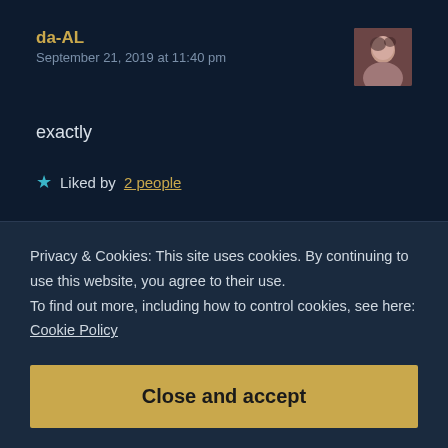da-AL
September 21, 2019 at 11:40 pm
exactly
★ Liked by 2 people
Reply
William Johnson
Privacy & Cookies: This site uses cookies. By continuing to use this website, you agree to their use.
To find out more, including how to control cookies, see here: Cookie Policy
Close and accept